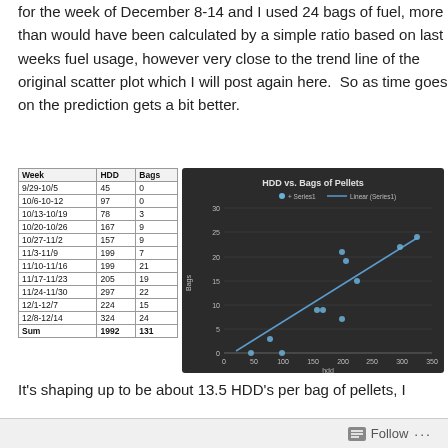for the week of December 8-14 and I used 24 bags of fuel, more than would have been calculated by a simple ratio based on last weeks fuel usage, however very close to the trend line of the original scatter plot which I will post again here.  So as time goes on the prediction gets a bit better.
| Week | HDD | Bags |
| --- | --- | --- |
| 9/29-10/5 | 45 | 0 |
| 10/6-10-12 | 97 | 0 |
| 10/13-10/19 | 78 | 3 |
| 10/20-10/26 | 167 | 9 |
| 10/27-11/2 | 157 | 9 |
| 11/3-11/9 | 199 | 7 |
| 11/10-11/16 | 199 | 21 |
| 11/17-11/23 | 205 | 19 |
| 11/24-11/30 | 297 | 22 |
| 12/1-12/7 | 224 | 15 |
| 12/8-12/14 | 324 | 24 |
| Sum | 1992 | 131 |
[Figure (scatter-plot): HDD vs. Bags of Pellets]
It's shaping up to be about 13.5 HDD's per bag of pellets, I
Follow